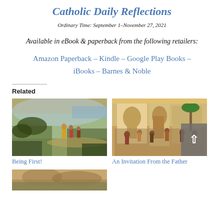Catholic Daily Reflections
Ordinary Time: September 1–November 27, 2021
Available in eBook & paperback from the following retailers:
Amazon Paperback – Kindle – Google Play Books – iBooks – Barnes & Noble
Related
[Figure (illustration): Biblical painting showing figures walking along a hillside path, landscape with water in background, vegetation in foreground]
Being First!
[Figure (illustration): Biblical painting showing a large gathering of people at an ornate building entrance, crowded scene with architectural details]
An Invitation From the Father
[Figure (illustration): Partial view of another biblical painting at bottom of page]